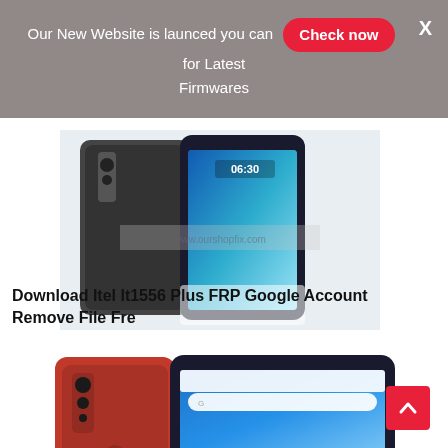Our New Website is launced you can Check now for Latest Firmwares
[Figure (photo): Two Itel It1556 Plus smartphones shown from back and front angles, with clock showing 06:30 on screen]
Download Itel It1556 Plus FRP Google Account Remove File Fre
[Figure (photo): Red Android smartphone shown from back and front angles with Google home screen visible, watermarked www.ourshopfix.com]